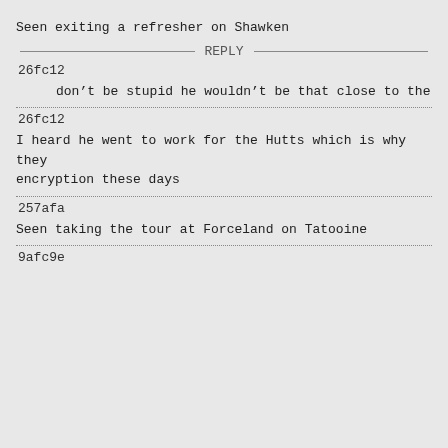Seen exiting a refresher on Shawken
---------------------------- REPLY ----------------------------
26fc12
don’t be stupid he wouldn’t be that close to the
26fc12
I heard he went to work for the Hutts which is why they encryption these days
257afa
Seen taking the tour at Forceland on Tatooine
9afc9e